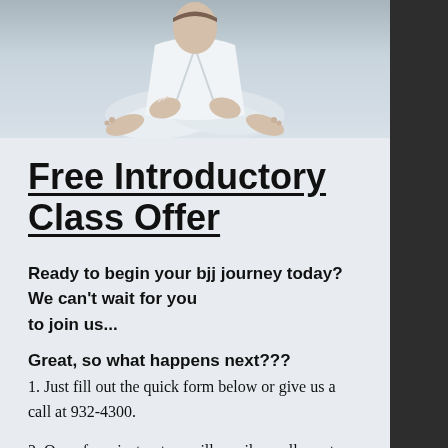[Figure (photo): Photo of a person in white martial arts gi seated cross-legged, hands visible with taped fingers, bare feet shown, light grey background]
Free Introductory Class Offer
Ready to begin your bjj journey today? We can't wait for you to join us...
Great, so what happens next???
1. Just fill out the quick form below or give us a call at 932-4300.
2. One of our instructors will email or call you to schedule your FREE introductory